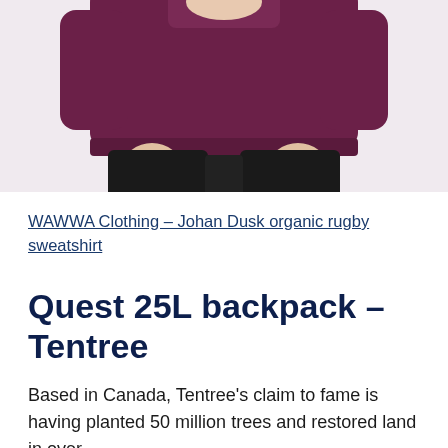[Figure (photo): Photo of a person wearing a dark burgundy/maroon rugby sweatshirt and black pants, cropped to show torso and hands only, against a light background.]
WAWWA Clothing – Johan Dusk organic rugby sweatshirt
Quest 25L backpack – Tentree
Based in Canada, Tentree's claim to fame is having planted 50 million trees and restored land in over